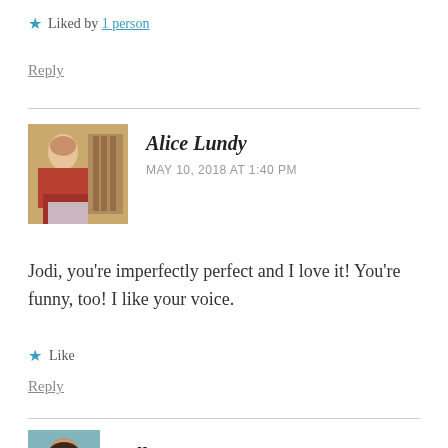★ Liked by 1 person
Reply
[Figure (photo): Avatar photo of Alice Lundy, a person sitting at a table with books in background]
Alice Lundy
MAY 10, 2018 AT 1:40 PM
Jodi, you're imperfectly perfect and I love it! You're funny, too! I like your voice.
★ Like
Reply
[Figure (photo): Avatar photo of sallyrose333]
sallyrose333